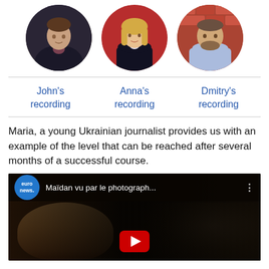[Figure (photo): Three circular profile photos: John (man in suit), Anna (woman in business attire), Dmitry (man in light shirt in front of brick wall)]
John's recording
Anna's recording
Dmitry's recording
Maria, a young Ukrainian journalist provides us with an example of the level that can be reached after several months of a successful course.
[Figure (screenshot): Euronews YouTube video thumbnail titled 'Maïdan vu par le photograph...' showing two scenes: a close-up of a young man on the left and a protest scene with smoke on the right, with a YouTube play button at the bottom center.]